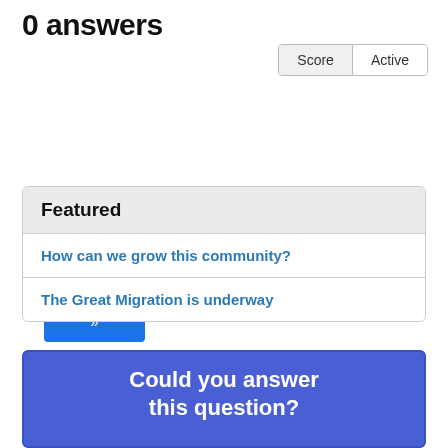0 answers
Score | Active
Sign up to answer this question »
Featured
How can we grow this community?
The Great Migration is underway
Could you answer this question?
How to plot table from